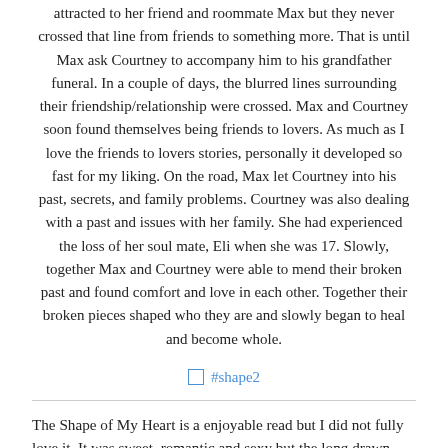attracted to her friend and roommate Max but they never crossed that line from friends to something more. That is until Max ask Courtney to accompany him to his grandfather funeral. In a couple of days, the blurred lines surrounding their friendship/relationship were crossed. Max and Courtney soon found themselves being friends to lovers. As much as I love the friends to lovers stories, personally it developed so fast for my liking. On the road, Max let Courtney into his past, secrets, and family problems. Courtney was also dealing with a past and issues with her family. She had experienced the loss of her soul mate, Eli when she was 17. Slowly, together Max and Courtney were able to mend their broken past and found comfort and love in each other. Together their broken pieces shaped who they are and slowly began to heal and become whole.
#shape2
The Shape of My Heart is a enjoyable read but I did not fully love it. It was sweet, romantic and sexy but the long drawn angst and drama was a bit too much for me. I loved Max's character but I wasn't a fan of Courtney. I just couldn't connect to her as much.